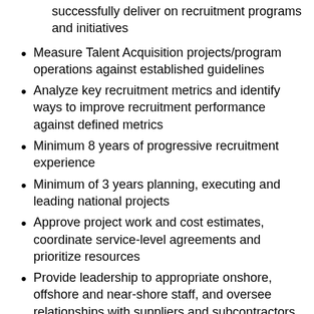successfully deliver on recruitment programs and initiatives
Measure Talent Acquisition projects/program operations against established guidelines
Analyze key recruitment metrics and identify ways to improve recruitment performance against defined metrics
Minimum 8 years of progressive recruitment experience
Minimum of 3 years planning, executing and leading national projects
Approve project work and cost estimates, coordinate service-level agreements and prioritize resources
Provide leadership to appropriate onshore, offshore and near-shore staff, and oversee relationships with suppliers and subcontractors
Manage project/program risks, making